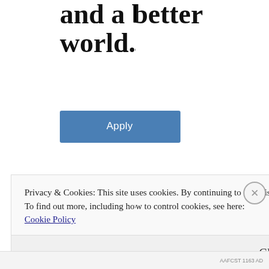and a better world.
Apply
[Figure (photo): A man with glasses and a beard sitting thoughtfully with hand raised to chin, shown in a circular cropped photo against a light grey background.]
Privacy & Cookies: This site uses cookies. By continuing to use this website, you agree to their use.
To find out more, including how to control cookies, see here: Cookie Policy
Close and accept